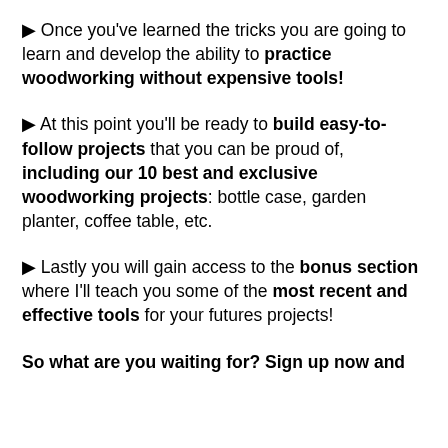▶ Once you've learned the tricks you are going to learn and develop the ability to practice woodworking without expensive tools!
▶ At this point you'll be ready to build easy-to-follow projects that you can be proud of, including our 10 best and exclusive woodworking projects: bottle case, garden planter, coffee table, etc.
▶ Lastly you will gain access to the bonus section where I'll teach you some of the most recent and effective tools for your futures projects!
So what are you waiting for? Sign up now and